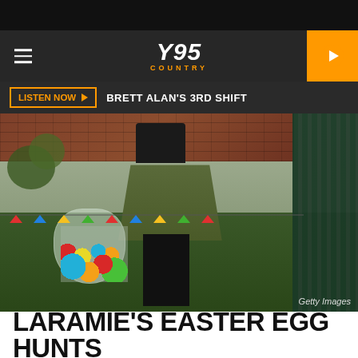[Figure (screenshot): Y95 Country radio website screenshot showing navigation bar with hamburger menu, Y95 COUNTRY logo, orange play button, LISTEN NOW bar with BRETT ALAN'S 3RD SHIFT text, a photo of a person carrying a bag of Easter eggs at an Easter egg hunt (Getty Images credit), and article title LARAMIE'S EASTER EGG HUNTS at the bottom]
Y95 COUNTRY
LISTEN NOW ▶  BRETT ALAN'S 3RD SHIFT
Getty Images
LARAMIE'S EASTER EGG HUNTS